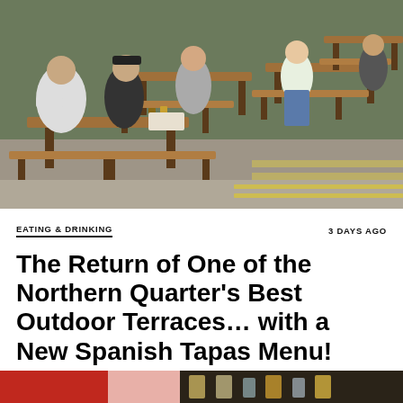[Figure (photo): Outdoor beer garden terrace scene with people sitting at wooden picnic bench-style tables on a street. Multiple groups of people socializing, with wooden slatted benches and tables visible. Background shows more tables and a pavement/road area.]
EATING & DRINKING
3 DAYS AGO
The Return of One of the Northern Quarter's Best Outdoor Terraces… with a New Spanish Tapas Menu!
[Figure (photo): Partial view of a second photo at the bottom of the page, showing red clothing and what appears to be drinks/glasses on a bar surface.]